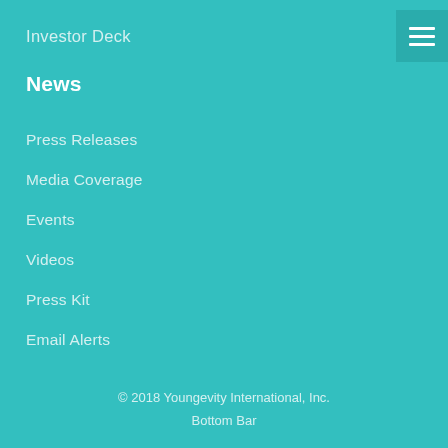Investor Deck
News
Press Releases
Media Coverage
Events
Videos
Press Kit
Email Alerts
© 2018 Youngevity International, Inc.
Bottom Bar